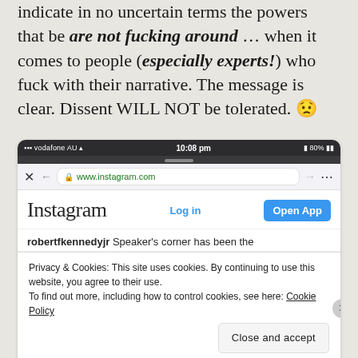indicate in no uncertain terms the powers that be are not fucking around ... when it comes to people (especially experts!) who fuck with their narrative. The message is clear. Dissent WILL NOT be tolerated. 😟
[Figure (screenshot): Mobile screenshot showing Instagram website in a browser with a cookie consent banner overlay. Status bar shows 'vodafone AU' carrier, '10:08 pm' time, and '80%' battery. Browser bar shows 'www.instagram.com'. Instagram logo visible with 'Log in' and 'Open App' buttons. Post text 'robertfkennedyjr Speaker's corner has been the'. Cookie banner reads: 'Privacy & Cookies: This site uses cookies. By continuing to use this website, you agree to their use. To find out more, including how to control cookies, see here: Cookie Policy' with a 'Close and accept' button.]